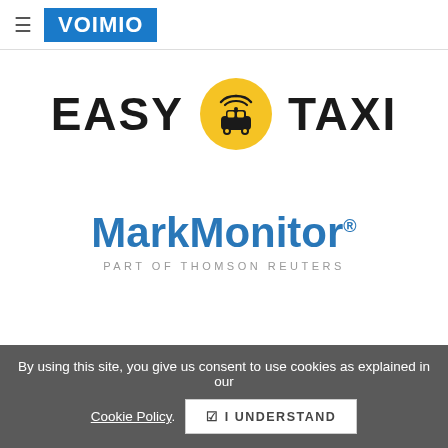≡  VOIMIO
[Figure (logo): Easy Taxi logo: text 'EASY' on left, yellow circle with taxi/wifi icon in center, text 'TAXI' on right]
[Figure (logo): MarkMonitor logo in blue with registered trademark symbol, subtitle 'PART OF THOMSON REUTERS' in grey]
By using this site, you give us consent to use cookies as explained in our Cookie Policy.  ☑ I UNDERSTAND